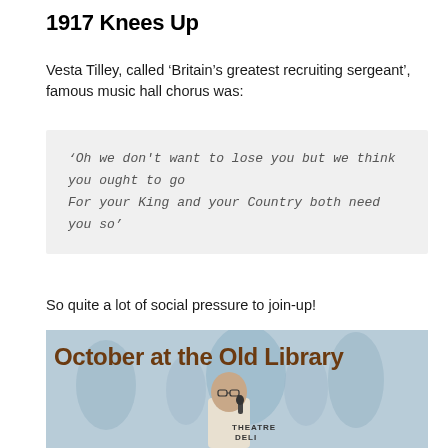1917 Knees Up
Vesta Tilley, called ‘Britain’s greatest recruiting sergeant’, famous music hall chorus was:
‘Oh we don't want to lose you but we think you ought to go
For your King and your Country both need you so’
So quite a lot of social pressure to join-up!
[Figure (photo): A bald man speaking into a microphone in front of a banner reading 'October at the Old Library' with a Theatre Deli logo visible]